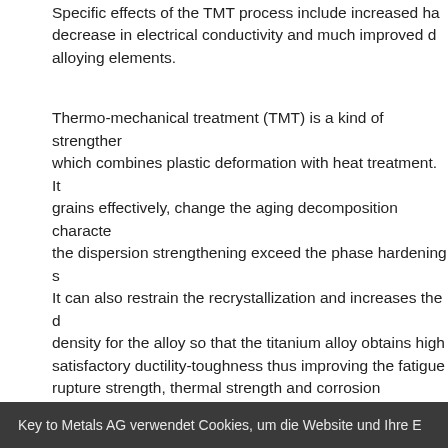Specific effects of the TMT process include increased hardness, decrease in electrical conductivity and much improved distribution of alloying elements.
Thermo-mechanical treatment (TMT) is a kind of strengthening process which combines plastic deformation with heat treatment. It can refine grains effectively, change the aging decomposition characteristics, make the dispersion strengthening exceed the phase hardening significantly. It can also restrain the recrystallization and increases the dislocation density for the alloy so that the titanium alloy obtains high strength, satisfactory ductility-toughness thus improving the fatigue strength, rupture strength, thermal strength and corrosion resistance. However, compared with the traditional deformation process, the microstructure mechanism during TMT may be much more complex, which means the restoration mechanism will change according to the base material characteristics such as the initial microstructure (rolling, annealing, etc.) and physical characteristics (mainly stacking fault energy). The stacking fault energy (SFE) is known to strongly influence the hot deformation behavior of metallic materials. These are the primary restor...
Key to Metals AG verwendet Cookies, um die Website und Ihre E...